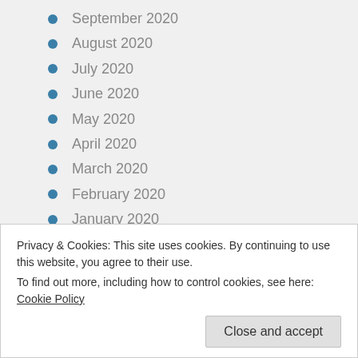September 2020
August 2020
July 2020
June 2020
May 2020
April 2020
March 2020
February 2020
January 2020
December 2019
November 2019
October 2019
September 2019
Privacy & Cookies: This site uses cookies. By continuing to use this website, you agree to their use.
To find out more, including how to control cookies, see here: Cookie Policy
April 2019